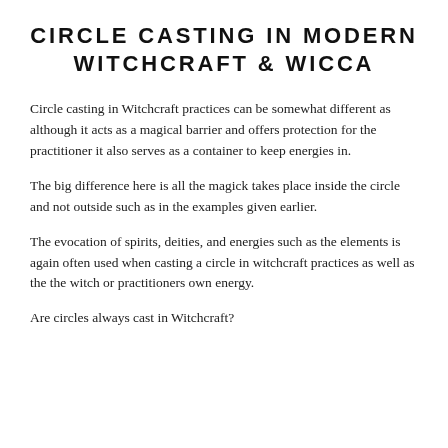CIRCLE CASTING IN MODERN WITCHCRAFT & WICCA
Circle casting in Witchcraft practices can be somewhat different as although it acts as a magical barrier and offers protection for the practitioner it also serves as a container to keep energies in.
The big difference here is all the magick takes place inside the circle and not outside such as in the examples given earlier.
The evocation of spirits, deities, and energies such as the elements is again often used when casting a circle in witchcraft practices as well as the the witch or practitioners own energy.
Are circles always cast in Witchcraft?